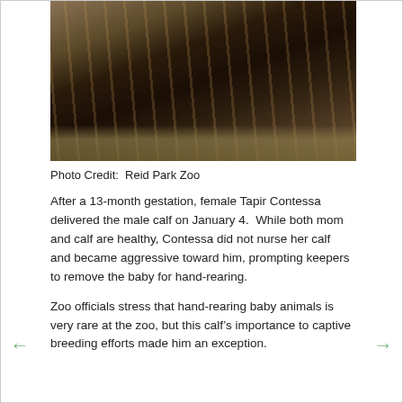[Figure (photo): Baby tapir calf lying on straw/hay, dark brown body with lighter beige/cream stripes and spots, characteristic camouflage pattern of young tapirs. Photo taken from above.]
Photo Credit:  Reid Park Zoo
After a 13-month gestation, female Tapir Contessa delivered the male calf on January 4.  While both mom and calf are healthy, Contessa did not nurse her calf and became aggressive toward him, prompting keepers to remove the baby for hand-rearing.
Zoo officials stress that hand-rearing baby animals is very rare at the zoo, but this calf’s importance to captive breeding efforts made him an exception.